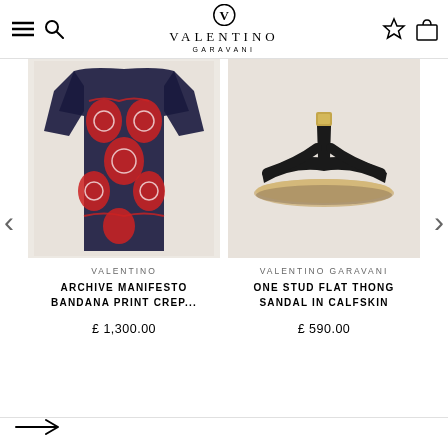VALENTINO GARAVANI
[Figure (photo): Valentino Archive Manifesto Bandana Print red and dark patterned crepe shirt/blouse product photo on beige background]
VALENTINO
ARCHIVE MANIFESTO BANDANA PRINT CREP...
£ 1,300.00
[Figure (photo): Valentino Garavani One Stud flat thong sandal in black calfskin with gold stud hardware, product photo on beige background]
VALENTINO GARAVANI
ONE STUD FLAT THONG SANDAL IN CALFSKIN
£ 590.00